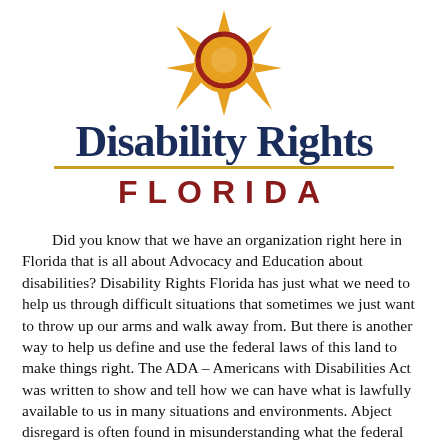[Figure (logo): Disability Rights Florida logo: a sun/circle graphic in gold, orange, and dark red above the text 'Disability Rights' in dark navy serif font and 'FLORIDA' in dark red bold capitals with a gold underline]
Did you know that we have an organization right here in Florida that is all about Advocacy and Education about disabilities? Disability Rights Florida has just what we need to help us through difficult situations that sometimes we just want to throw up our arms and walk away from. But there is another way to help us define and use the federal laws of this land to make things right. The ADA – Americans with Disabilities Act was written to show and tell how we can have what is lawfully available to us in many situations and environments. Abject disregard is often found in misunderstanding what the federal laws